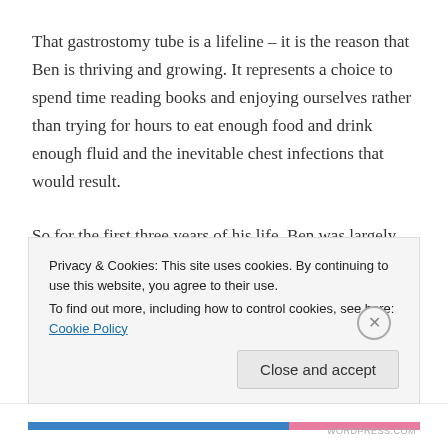That gastrostomy tube is a lifeline – it is the reason that Ben is thriving and growing. It represents a choice to spend time reading books and enjoying ourselves rather than trying for hours to eat enough food and drink enough fluid and the inevitable chest infections that would result.
So for the first three years of his life, Ben was largely fed milk – various hypoallergenic, cows-milk-free and enhanced formulas that began to arrive in big boxes every month. As far as dieticians and general medical
Privacy & Cookies: This site uses cookies. By continuing to use this website, you agree to their use.
To find out more, including how to control cookies, see here: Cookie Policy
WORDPRESS.COM